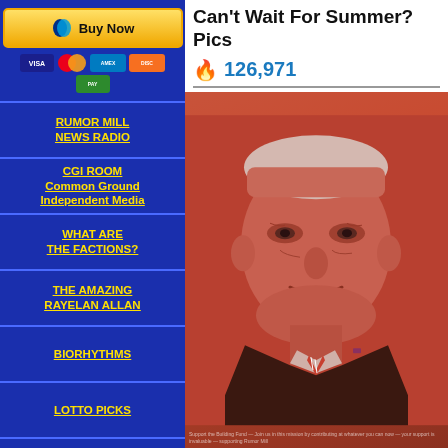[Figure (screenshot): PayPal Buy Now button with payment card logos (Visa, Mastercard, Amex, Discover, and other cards) on a blue background]
RUMOR MILL NEWS RADIO
CGI ROOM Common Ground Independent Media
WHAT ARE THE FACTIONS?
THE AMAZING RAYELAN ALLAN
BIORHYTHMS
LOTTO PICKS
OTHER WAYS TO DONATE
[Figure (photo): Black t-shirt with red graphic design]
Can't Wait For Summer? Pics
🔥 126,971
[Figure (photo): Photo of an elderly man (reddish/orange tint overlay) wearing a suit with an American flag pin and striped tie, speaking or presenting]